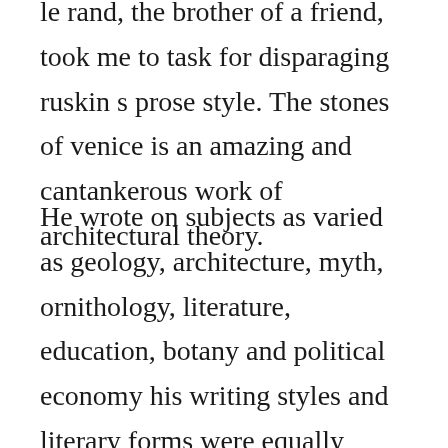le rand, the brother of a friend, took me to task for disparaging ruskin s prose style. The stones of venice is an amazing and cantankerous work of architectural theory.
He wrote on subjects as varied as geology, architecture, myth, ornithology, literature, education, botany and political economy his writing styles and literary forms were equally varied. This volume includes the everpopular grandfathers private zoo written over twentyfive years ago. John ruskin 8 february 1819 20 january 1900 was the leading english art critic of the victorian era, as well as an art